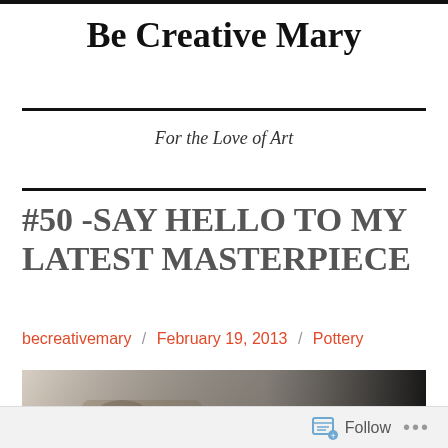Be Creative Mary
For the Love of Art
#50 -SAY HELLO TO MY LATEST MASTERPIECE
becreativemary / February 19, 2013 / Pottery
[Figure (photo): A blurred photo showing pottery or clay work on a table, with a dark figure on the right side.]
Follow ...